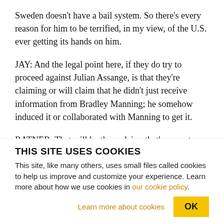Sweden doesn't have a bail system. So there's every reason for him to be terrified, in my view, of the U.S. ever getting its hands on him.
JAY: And the legal point here, if they do try to proceed against Julian Assange, is that they're claiming or will claim that he didn't just receive information from Bradley Manning; he somehow induced it or collaborated with Manning to get it.
RATNER: That will be there claim, that's correct.
THIS SITE USES COOKIES
This site, like many others, uses small files called cookies to help us improve and customize your experience. Learn more about how we use cookies in our cookie policy.
Learn more about cookies
OK